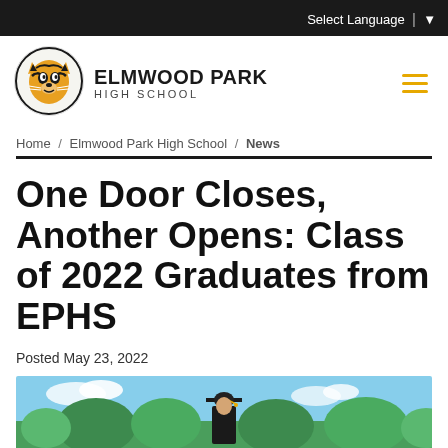Select Language | ▼
[Figure (logo): Elmwood Park High School tiger mascot logo circle with black and gold tiger illustration]
ELMWOOD PARK HIGH SCHOOL
Home / Elmwood Park High School / News
One Door Closes, Another Opens: Class of 2022 Graduates from EPHS
Posted May 23, 2022
[Figure (photo): Graduate in cap and gown outdoors with green trees and blue sky in background]